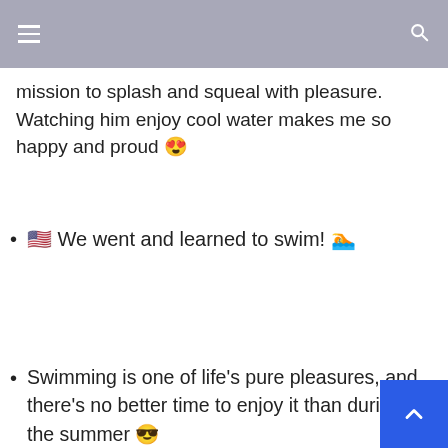Navigation header with menu and search icons
mission to splash and squeal with pleasure. Watching him enjoy cool water makes me so happy and proud 😍
🇺🇸 We went and learned to swim! 🏊
Swimming is one of life's pure pleasures, and there's no better time to enjoy it than during the summer 😎